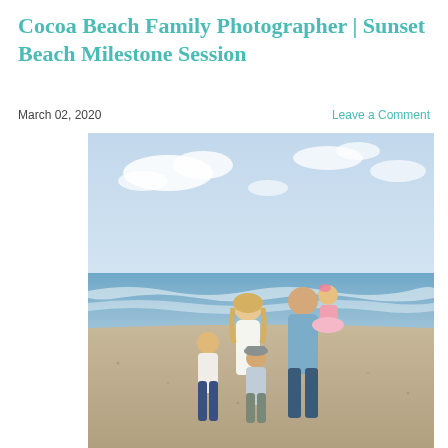Cocoa Beach Family Photographer | Sunset Beach Milestone Session
March 02, 2020
Leave a Comment
[Figure (photo): A family of five posing together on a beach at sunset. A woman with blonde hair wearing a white blouse stands in the center, a man in a light blue shirt holds a toddler girl wearing a pink tutu on the right, and two young boys stand in front. The background shows ocean waves and a blue sky with white clouds.]